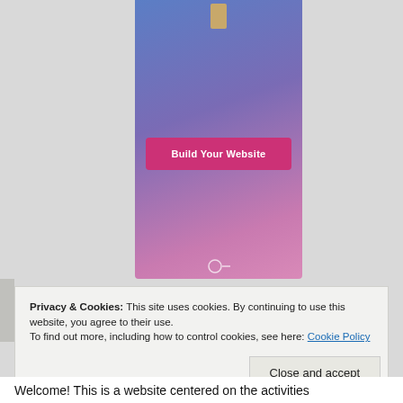[Figure (screenshot): A mobile phone or web banner showing a gradient background (blue to purple to pink) with a small tan/gold icon at the top and a 'Build Your Website' pink button in the center, plus a circular icon at the bottom.]
Privacy & Cookies: This site uses cookies. By continuing to use this website, you agree to their use. To find out more, including how to control cookies, see here: Cookie Policy
Close and accept
Welcome! This is a website centered on the activities